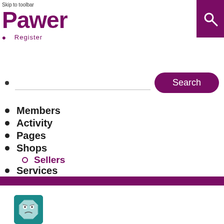Skip to toolbar
Pawer
Register
[Figure (other): Purple search icon box in top-right corner]
Search button with input field
Members
Activity
Pages
Shops
Sellers
Services
[Figure (photo): User avatar showing cartoon face on teal background for Connor Albrechtsen]
Connor Albrechtsen